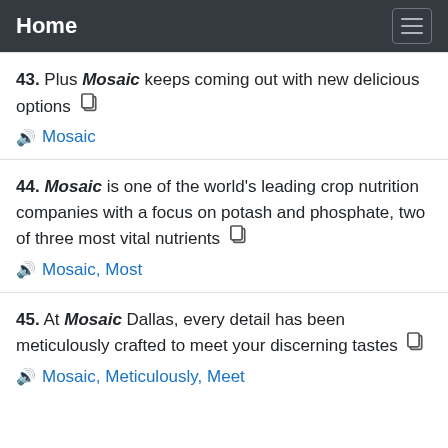Home
43. Plus Mosaic keeps coming out with new delicious options
Mosaic
44. Mosaic is one of the world's leading crop nutrition companies with a focus on potash and phosphate, two of three most vital nutrients
Mosaic, Most
45. At Mosaic Dallas, every detail has been meticulously crafted to meet your discerning tastes
Mosaic, Meticulously, Meet